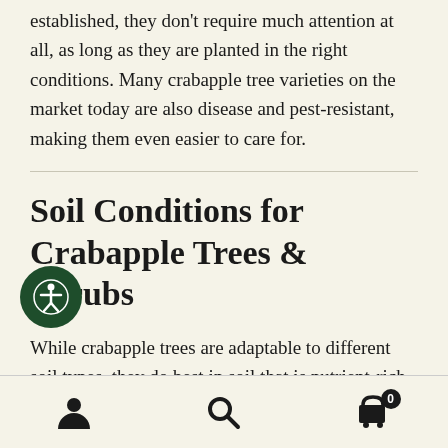established, they don't require much attention at all, as long as they are planted in the right conditions. Many crabapple tree varieties on the market today are also disease and pest-resistant, making them even easier to care for.
Soil Conditions for Crabapple Trees & Shrubs
While crabapple trees are adaptable to different soil types, they do best in soil that is nutrient-rich, well-drained, and slightly acidic. A soil pH of 6-7 is ideal. When planting trees or
Navigation bar with user, search, and cart icons